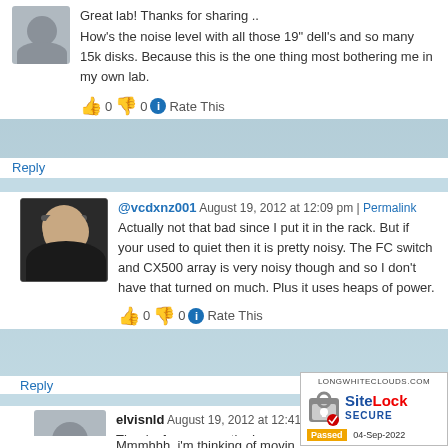Great lab! Thanks for sharing ..
How's the noise level with all those 19" dell's and so many 15k disks. Because this is the one thing most bothering me in my own lab.
👍 0 👎 0 ℹ Rate This
Reply
@vcdxnz001 August 19, 2012 at 12:09 pm | Permalink
Actually not that bad since I put it in the rack. But if your used to quiet then it is pretty noisy. The FC switch and CX500 array is very noisy though and so I don't have that turned on much. Plus it uses heaps of power.
👍 0 👎 0 ℹ Rate This
Reply
elvisnld August 19, 2012 at 12:41 pm | Permalink
Thanks for commenting!
Mmmhhh, i'm thinking of moving over to a friend, which has plenty... But i'm not quite sure if i'm gonna feel happy...
[Figure (logo): SiteLock SECURE badge with LONGWHITECLOUDS.COM header and Passed 04-Sep-2022 stamp]